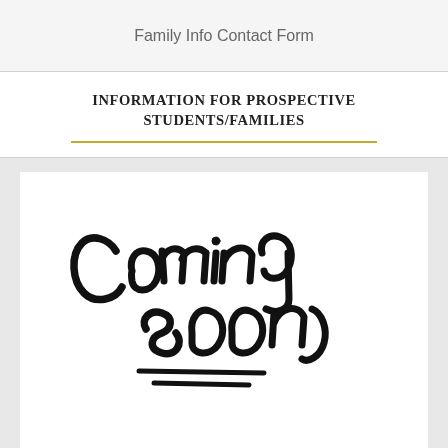Family Info Contact Form
INFORMATION FOR PROSPECTIVE STUDENTS/FAMILIES
[Figure (illustration): Handwritten-style 'Coming soon' lettering in black on white background]